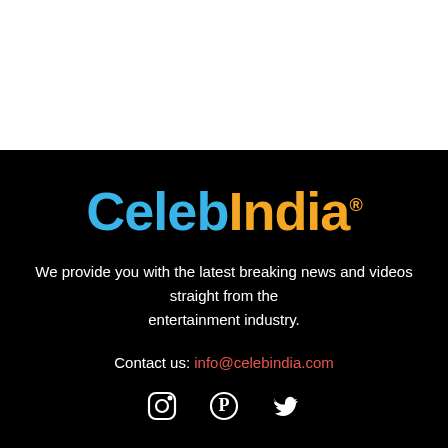[Figure (logo): CelebIndia logo with 'Celeb' in blue and 'India' in orange on black background]
We provide you with the latest breaking news and videos straight from the entertainment industry.
Contact us: info@celebindia.com
[Figure (other): Social media icons: Instagram, Pinterest, Twitter]